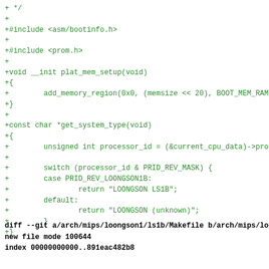+ */
+
+#include <asm/bootinfo.h>
+
+#include <prom.h>
+
+void __init plat_mem_setup(void)
+{
+        add_memory_region(0x0, (memsize << 20), BOOT_MEM_RAM)
+}
+
+const char *get_system_type(void)
+{
+        unsigned int processor_id = (&current_cpu_data)->proc
+
+        switch (processor_id & PRID_REV_MASK) {
+        case PRID_REV_LOONGSON1B:
+                return "LOONGSON LS1B";
+        default:
+                return "LOONGSON (unknown)";
+        }
+}
diff --git a/arch/mips/loongson1/ls1b/Makefile b/arch/mips/lo
new file mode 100644
index 00000000000..891eac482b8